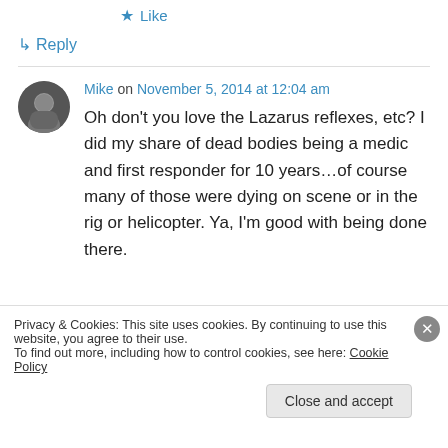★ Like
↪ Reply
Mike on November 5, 2014 at 12:04 am
Oh don't you love the Lazarus reflexes, etc? I did my share of dead bodies being a medic and first responder for 10 years…of course many of those were dying on scene or in the rig or helicopter. Ya, I'm good with being done there.
Privacy & Cookies: This site uses cookies. By continuing to use this website, you agree to their use.
To find out more, including how to control cookies, see here: Cookie Policy
Close and accept